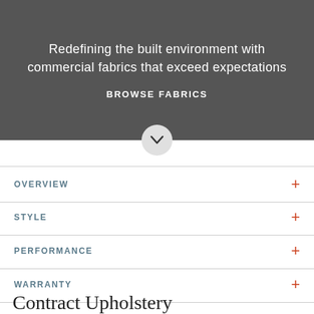Redefining the built environment with commercial fabrics that exceed expectations
BROWSE FABRICS
OVERVIEW
STYLE
PERFORMANCE
WARRANTY
Contract Upholstery